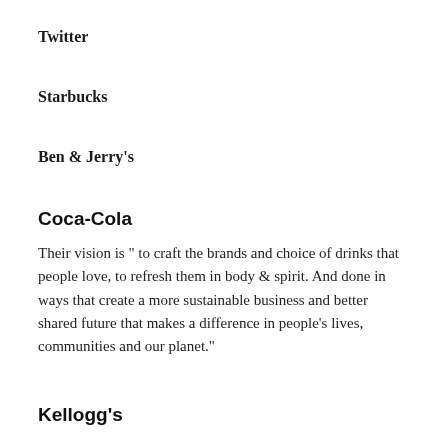Twitter
Starbucks
Ben & Jerry's
Coca-Cola
Their vision is " to craft the brands and choice of drinks that people love, to refresh them in body & spirit. And done in ways that create a more sustainable business and better shared future that makes a difference in people's lives, communities and our planet."
Kellogg's